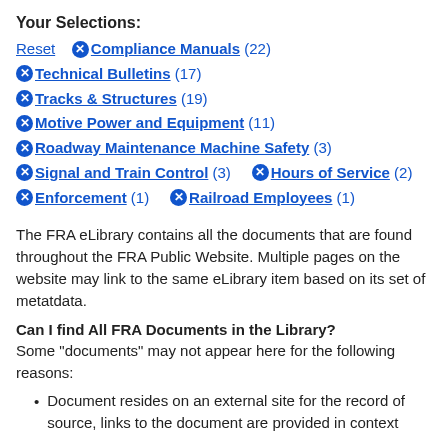Your Selections:
Reset  ⊗ Compliance Manuals (22)
⊗ Technical Bulletins (17)
⊗ Tracks & Structures (19)
⊗ Motive Power and Equipment (11)
⊗ Roadway Maintenance Machine Safety (3)
⊗ Signal and Train Control (3)   ⊗ Hours of Service (2)
⊗ Enforcement (1)   ⊗ Railroad Employees (1)
The FRA eLibrary contains all the documents that are found throughout the FRA Public Website. Multiple pages on the website may link to the same eLibrary item based on its set of metatdata.
Can I find All FRA Documents in the Library?
Some "documents" may not appear here for the following reasons:
Document resides on an external site for the record of source, links to the document are provided in context